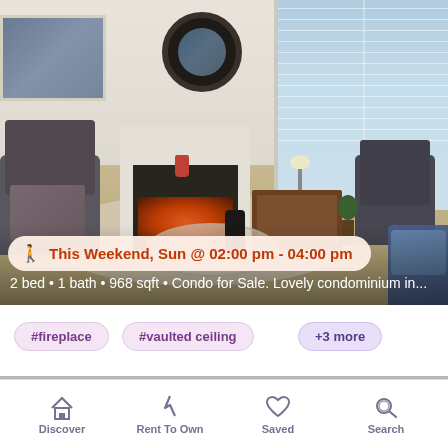[Figure (photo): Interior photo of a living room with fireplace, round mirror above mantle, arm chairs, bay windows with white shutters, hardwood floors, round coffee table, and area rug]
This Weekend, Sun @ 02:00 pm - 04:00 pm
2 bed • 1 bath • 968 sqft • Condo for Sale. Lovely condominium in...
#fireplace
#vaulted ceiling
+3 more
43 Lisbon Street
San Francisco, CA
$1.4m
a day ago
Discover  Rent To Own  Saved  Search